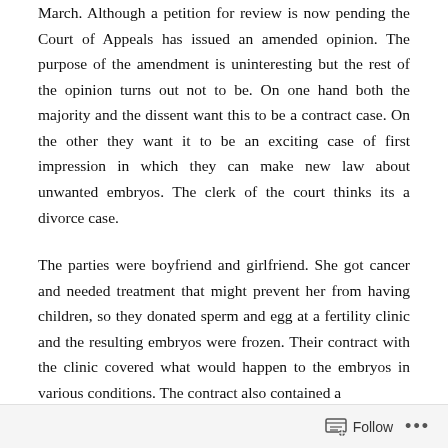March. Although a petition for review is now pending the Court of Appeals has issued an amended opinion. The purpose of the amendment is uninteresting but the rest of the opinion turns out not to be. On one hand both the majority and the dissent want this to be a contract case. On the other they want it to be an exciting case of first impression in which they can make new law about unwanted embryos. The clerk of the court thinks its a divorce case.
The parties were boyfriend and girlfriend. She got cancer and needed treatment that might prevent her from having children, so they donated sperm and egg at a fertility clinic and the resulting embryos were frozen. Their contract with the clinic covered what would happen to the embryos in various conditions. The contract also contained a...
Follow